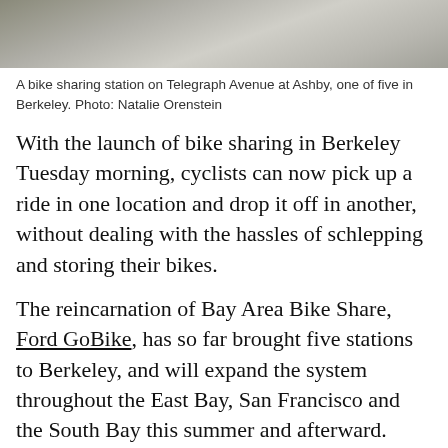[Figure (photo): Top portion of a photo showing bicycle wheels at a bike sharing station on Telegraph Avenue at Ashby, Berkeley.]
A bike sharing station on Telegraph Avenue at Ashby, one of five in Berkeley. Photo: Natalie Orenstein
With the launch of bike sharing in Berkeley Tuesday morning, cyclists can now pick up a ride in one location and drop it off in another, without dealing with the hassles of schlepping and storing their bikes.
The reincarnation of Bay Area Bike Share, Ford GoBike, has so far brought five stations to Berkeley, and will expand the system throughout the East Bay, San Francisco and the South Bay this summer and afterward.
Bike sharing in the East Bay is years in the making, and there are are plans to bring 1,500 of